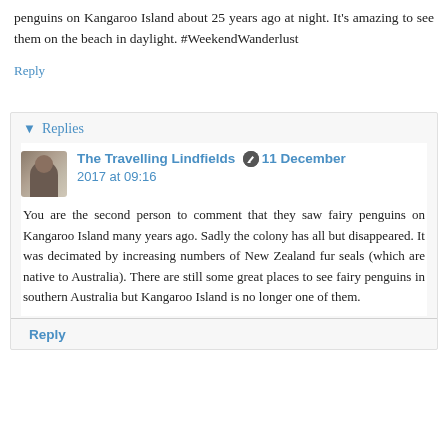penguins on Kangaroo Island about 25 years ago at night. It's amazing to see them on the beach in daylight. #WeekendWanderlust
Reply
Replies
The Travelling Lindfields  11 December 2017 at 09:16
You are the second person to comment that they saw fairy penguins on Kangaroo Island many years ago. Sadly the colony has all but disappeared. It was decimated by increasing numbers of New Zealand fur seals (which are native to Australia). There are still some great places to see fairy penguins in southern Australia but Kangaroo Island is no longer one of them.
Reply